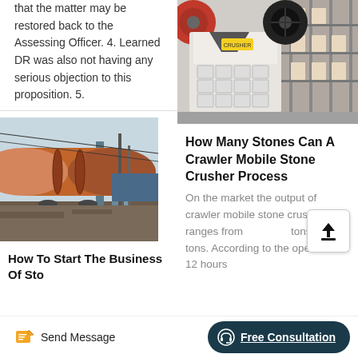that the matter may be restored back to the Assessing Officer. 4. Learned DR was also not having any serious objection to this proposition. 5.
[Figure (photo): Rotary kiln or large industrial cylinder at a construction/industrial site with cranes in background]
How To Start The Business Of Sto...
[Figure (photo): White jaw crusher machine in an industrial factory setting with red flywheel]
How Many Stones Can A Crawler Mobile Stone Crusher Process
On the market the output of crawler mobile stone crusher ranges from [upload icon] tons to 500 tons. According to the operation of 12 hours
Send Message   Free Consultation